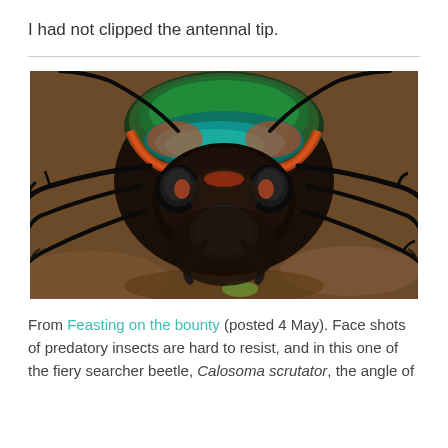I had not clipped the antennal tip.
[Figure (photo): Close-up macro photograph of a fiery searcher beetle (Calosoma scrutator) face-on, showing iridescent green and teal pronotum with orange-red edges, large black compound eyes with orange highlights, prominent mandibles, and long dark legs extending outward against a blurry brown background.]
From Feasting on the bounty (posted 4 May). Face shots of predatory insects are hard to resist, and in this one of the fiery searcher beetle, Calosoma scrutator, the angle of